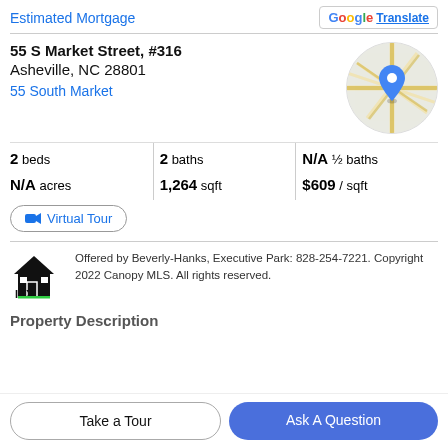Estimated Mortgage
G Translate
55 S Market Street, #316
Asheville, NC 28801
55 South Market
[Figure (map): Circular Google Maps thumbnail showing street map with blue location pin marker]
| 2 beds | 2 baths | N/A ½ baths |
| N/A acres | 1,264 sqft | $609 / sqft |
Virtual Tour
Offered by Beverly-Hanks, Executive Park: 828-254-7221. Copyright 2022 Canopy MLS. All rights reserved.
Property Description
Take a Tour
Ask A Question